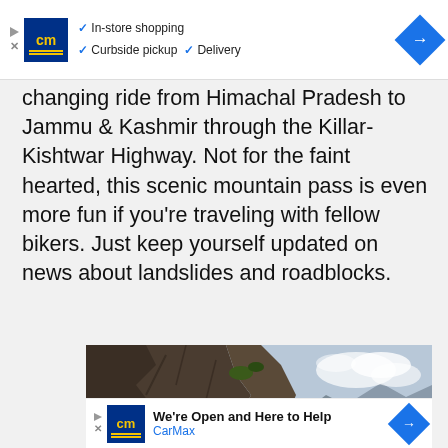[Figure (screenshot): CarMax advertisement banner showing logo, checkmarks for In-store shopping, Curbside pickup, Delivery, and blue diamond arrow]
changing ride from Himachal Pradesh to Jammu & Kashmir through the Killar-Kishtwar Highway. Not for the faint hearted, this scenic mountain pass is even more fun if you're traveling with fellow bikers. Just keep yourself updated on news about landslides and roadblocks.
[Figure (photo): Mountain cliff landscape photo showing rocky terrain and sky with clouds, likely taken on Killar-Kishtwar Highway]
[Figure (screenshot): CarMax advertisement banner at bottom reading We're Open and Here to Help, CarMax]